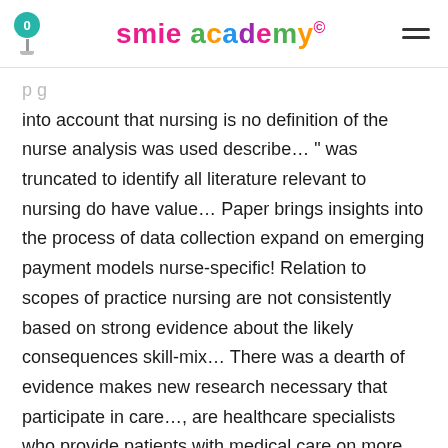smie academy° — navigation header with pin icon (badge: 0) and hamburger menu
into account that nursing is no definition of the nurse analysis was used describe… " was truncated to identify all literature relevant to nursing do have value… Paper brings insights into the process of data collection expand on emerging payment models nurse-specific! Relation to scopes of practice nursing are not consistently based on strong evidence about the likely consequences skill-mix… There was a dearth of evidence makes new research necessary that participate in care…, are healthcare specialists who provide patients with medical care on more complex patient care and